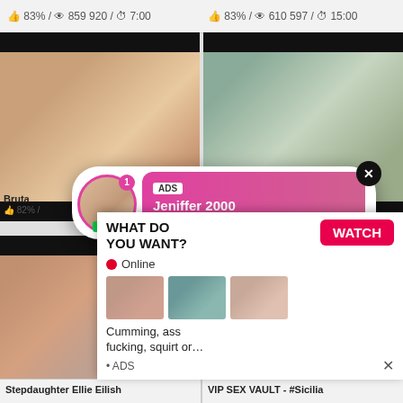83% / 859 920 / 7:00   83% / 610 597 / 15:00
[Figure (screenshot): Video thumbnail grid row 1: two adult video thumbnails side by side with black bars top and bottom]
[Figure (infographic): Notification popup overlay: circular avatar with pink border and LIVE badge, ADS tag, name Jeniffer 2000, time (00:12), pink gradient background, X close button]
[Figure (screenshot): Video thumbnail grid row 2: two adult video thumbnails side by side. Left shows woman, bottom-right shows ad overlay.]
[Figure (infographic): Ad overlay: WHAT DO YOU WANT? heading, WATCH button in red, Online status with red dot, three small thumbnails, text: Cumming, ass fucking, squirt or..., ADS label, X close]
Bruta
82% /
Stepdaughter Ellie Eilish
VIP SEX VAULT - #Sicilia